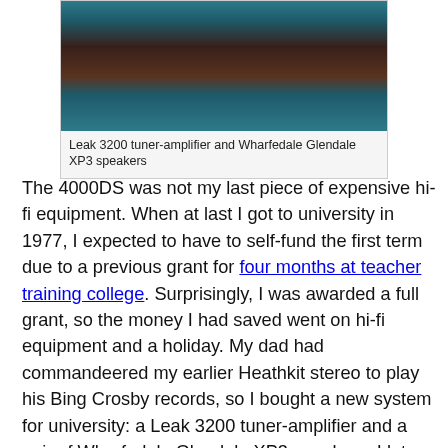[Figure (photo): Photo of Leak 3200 tuner-amplifier and Wharfedale Glendale XP3 speakers — two dark brown speaker cabinets with wooden frames on a teal carpet]
Leak 3200 tuner-amplifier and Wharfedale Glendale XP3 speakers
The 4000DS was not my last piece of expensive hi-fi equipment. When at last I got to university in 1977, I expected to have to self-fund the first term due to a previous grant for four months at teacher training college. Surprisingly, I was awarded a full grant, so the money I had saved went on hi-fi equipment and a holiday. My dad had commandeered my earlier Heathkit stereo to play his Bing Crosby records, so I bought a new system for university: a Leak 3200 tuner-amplifier and a pair of Wharfedale Glendale XP3 speakers. I later added a Sansui SR-222 turntable and a Sharp RT-10 cassette deck.
In total, the tape decks, headphones, tuner-amp, turntable and speakers came to roughly £500, which in today's